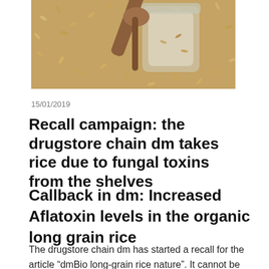[Figure (photo): Glass jar with wooden spoon and scattered brown rice grains on a surface]
15/01/2019
Recall campaign: the drugstore chain dm takes rice due to fungal toxins from the shelves
Callback in dm: Increased Aflatoxin levels in the organic long grain rice
The drugstore chain dm has started a recall for the article “dmBio long-grain rice nature”. It cannot be